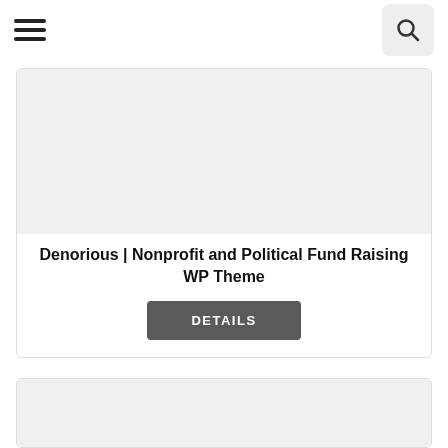Navigation bar with hamburger menu and search button
Denorious | Nonprofit and Political Fund Raising WP Theme
DETAILS